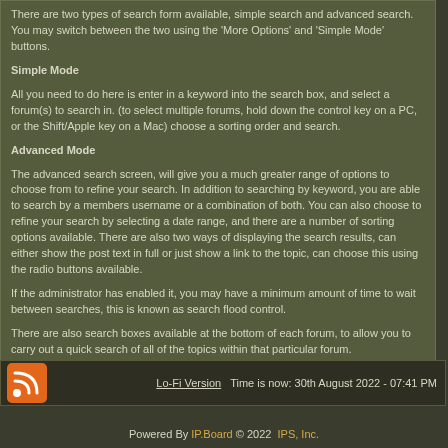There are two types of search form available, simple search and advanced search. You may switch between the two using the 'More Options' and 'Simple Mode' buttons.
Simple Mode
All you need to do here is enter in a keyword into the search box, and select a forum(s) to search in. (to select multiple forums, hold down the control key on a PC, or the Shift/Apple key on a Mac) choose a sorting order and search.
Advanced Mode
The advanced search screen, will give you a much greater range of options to choose from to refine your search. In addition to searching by keyword, you are able to search by a members username or a combination of both. You can also choose to refine your search by selecting a date range, and there are a number of sorting options available. There are also two ways of displaying the search results, can either show the post text in full or just show a link to the topic, can choose this using the radio buttons available.
If the administrator has enabled it, you may have a minimum amount of time to wait between searches, this is known as search flood control.
There are also search boxes available at the bottom of each forum, to allow you to carry out a quick search of all of the topics within that particular forum.
Lo-Fi Version   Time is now: 30th August 2022 - 07:41 PM
Powered By IP.Board © 2022  IPS, Inc.